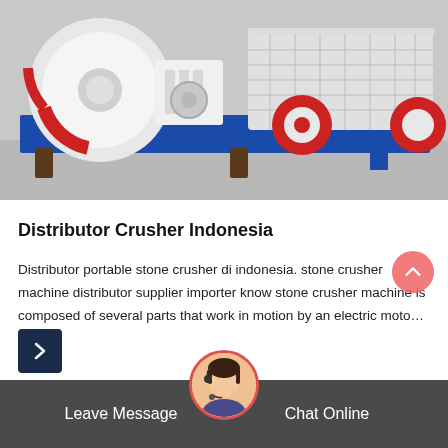[Figure (photo): Industrial stone crusher machine with white cylindrical motors, red wheels/rollers, on a blue metal frame base, parked on a concrete floor in a warehouse]
Distributor Crusher Indonesia
Distributor portable stone crusher di indonesia. stone crusher machine distributor supplier importer know stone crusher machine is composed of several parts that work in motion by an electric moto…
Leave Message   Chat Online